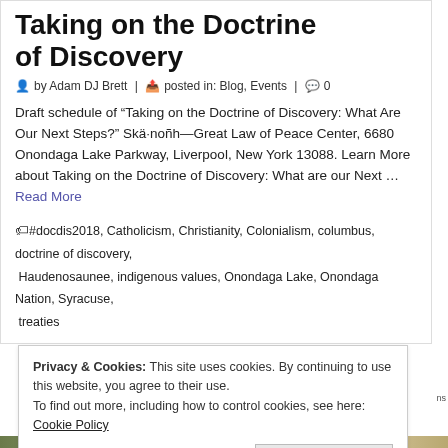Taking on the Doctrine of Discovery
by Adam DJ Brett | posted in: Blog, Events | 0
Draft schedule of “Taking on the Doctrine of Discovery: What Are Our Next Steps?” Skä·noñh—Great Law of Peace Center, 6680 Onondaga Lake Parkway, Liverpool, New York 13088. Learn More about Taking on the Doctrine of Discovery: What are our Next … Read More
#docdis2018, Catholicism, Christianity, Colonialism, columbus, doctrine of discovery, Haudenosaunee, indigenous values, Onondaga Lake, Onondaga Nation, Syracuse, treaties
Privacy & Cookies: This site uses cookies. By continuing to use this website, you agree to their use.
To find out more, including how to control cookies, see here: Cookie Policy
Close and accept